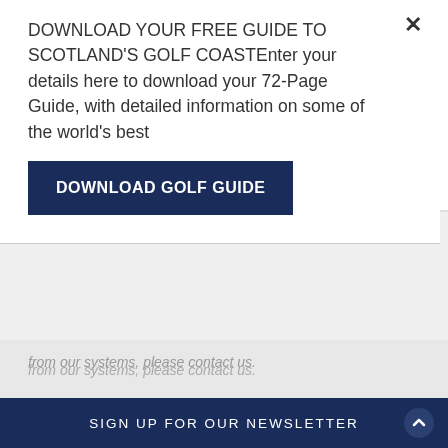DOWNLOAD YOUR FREE GUIDE TO SCOTLAND'S GOLF COASTEnter your details here to download your 72-Page Guide, with detailed information on some of the world's best
DOWNLOAD GOLF GUIDE
from our systems, please contact us.
In certain circumstances, you have the following data protection rights:
The right to access, update or delete the information we have on you. Whenever made possible, you can access, update or request deletion of your Personal Data directly within your account settings section. If you are unable to
SIGN UP FOR OUR NEWSLETTER